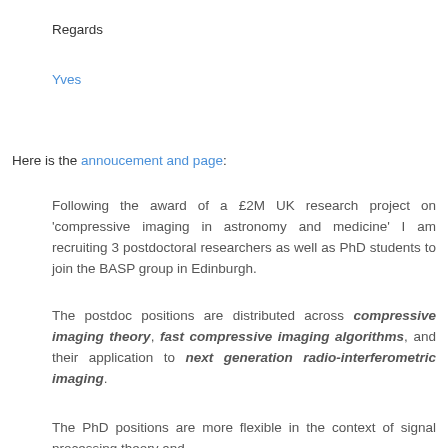Regards
Yves
Here is the annoucement and page:
Following the award of a £2M UK research project on 'compressive imaging in astronomy and medicine' I am recruiting 3 postdoctoral researchers as well as PhD students to join the BASP group in Edinburgh.
The postdoc positions are distributed across compressive imaging theory, fast compressive imaging algorithms, and their application to next generation radio-interferometric imaging.
The PhD positions are more flexible in the context of signal processing theory and